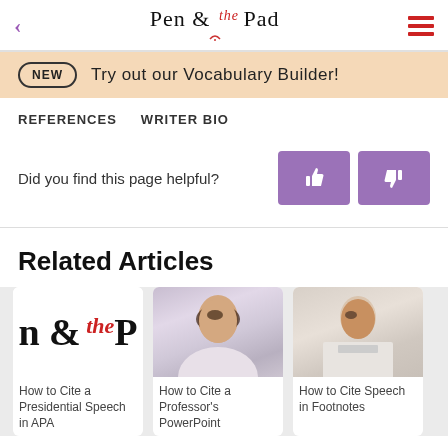Pen & the Pad
NEW  Try out our Vocabulary Builder!
REFERENCES    WRITER BIO
Did you find this page helpful?
Related Articles
[Figure (logo): Pen & the Pad logo thumbnail for How to Cite a Presidential Speech in APA]
How to Cite a Presidential Speech in APA
[Figure (photo): Photo of smiling woman for How to Cite a Professor's PowerPoint]
How to Cite a Professor's PowerPoint
[Figure (photo): Photo of man reading for How to Cite a Speech in Footnotes]
How to Cite a Speech in Footnotes